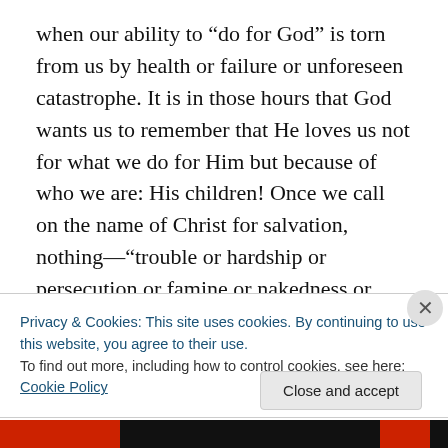when our ability to “do for God” is torn from us by health or failure or unforeseen catastrophe. It is in those hours that God wants us to remember that He loves us not for what we do for Him but because of who we are: His children! Once we call on the name of Christ for salvation, nothing—“trouble or hardship or persecution or famine or nakedness or danger or sword”—will ever again separate us “from the love of God that is in Christ Jesus our Lord” (Rom. 8:35, 39).

When all we can do or all we have is taken from us, then
Privacy & Cookies: This site uses cookies. By continuing to use this website, you agree to their use.
To find out more, including how to control cookies, see here: Cookie Policy
Close and accept